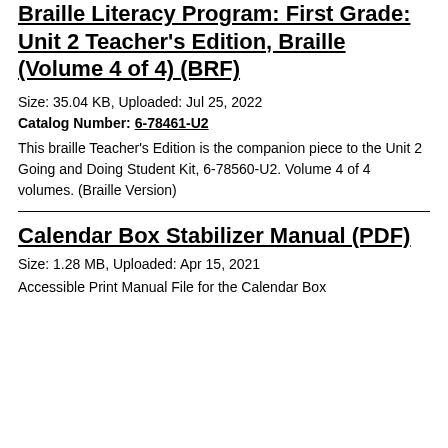Braille Literacy Program: First Grade: Unit 2 Teacher's Edition, Braille (Volume 4 of 4) (BRF)
Size: 35.04 KB, Uploaded: Jul 25, 2022
Catalog Number: 6-78461-U2
This braille Teacher's Edition is the companion piece to the Unit 2 Going and Doing Student Kit, 6-78560-U2. Volume 4 of 4 volumes. (Braille Version)
Calendar Box Stabilizer Manual (PDF)
Size: 1.28 MB, Uploaded: Apr 15, 2021
Accessible Print Manual File for the Calendar Box